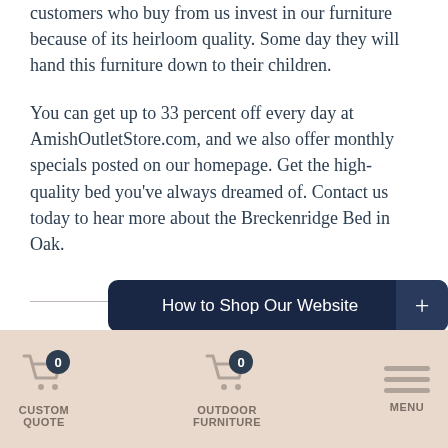customers who buy from us invest in our furniture because of its heirloom quality. Some day they will hand this furniture down to their children.
You can get up to 33 percent off every day at AmishOutletStore.com, and we also offer monthly specials posted on our homepage. Get the high-quality bed you've always dreamed of. Contact us today to hear more about the Breckenridge Bed in Oak.
How to Shop Our Website
CUSTOM QUOTE  OUTDOOR FURNITURE  MENU